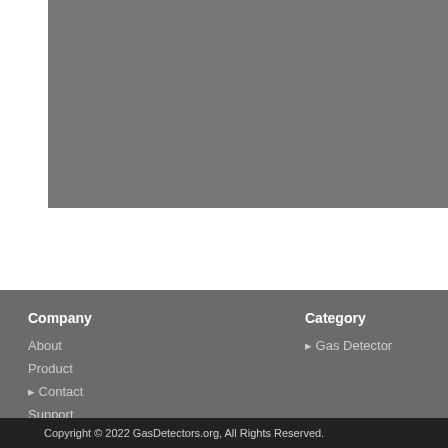[Figure (photo): Gray image placeholder in the upper left area of the page]
The gas detector might be inaccurate. Continuing alarm
Company
About
Product
▸ Contact
Support
Category
▸ Gas Detector
Featured
▸ How to Test a Carbon Monoxide
▸ The Most Common Mistakes P
▸ Hydrogen Sulfide Gas Detecto
Copyright © 2022 GasDetectors.org, All Rights Reserved.